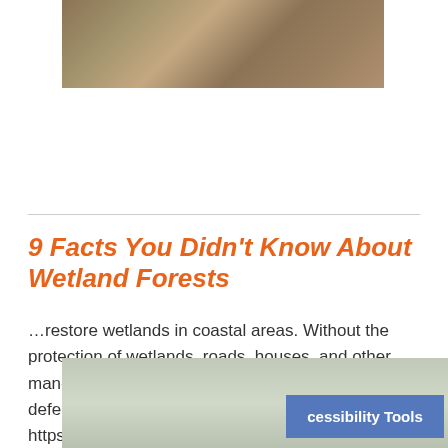[Figure (photo): Partial photo of wooden planks and construction materials, cut off at top of page]
9 Facts You Didn't Know About Wetland Forests
…restore wetlands in coastal areas. Without the protection of wetlands, roads, houses, and other man-made structures along coastal areas would be defenseless against hurricanes and tropical storms. https://www.youtube.com/watch?v=V-aQLwnJKWc Wetland Forests…
[Figure (photo): Partial photo at bottom of page, appears to show a person or figure in water or wetland environment]